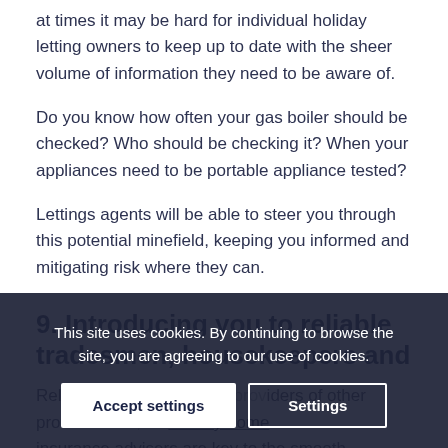at times it may be hard for individual holiday letting owners to keep up to date with the sheer volume of information they need to be aware of.
Do you know how often your gas boiler should be checked? Who should be checking it? When your appliances need to be portable appliance tested?
Lettings agents will be able to steer you through this potential minefield, keeping you informed and mitigating risk where they can.
9. Introducing you to reliable tradesmen, housekeepers and
Reliable t... s and providers of other pro... as holiday home insurance advisers are key to the smooth operation of
This site uses cookies. By continuing to browse the site, you are agreeing to our use of cookies.